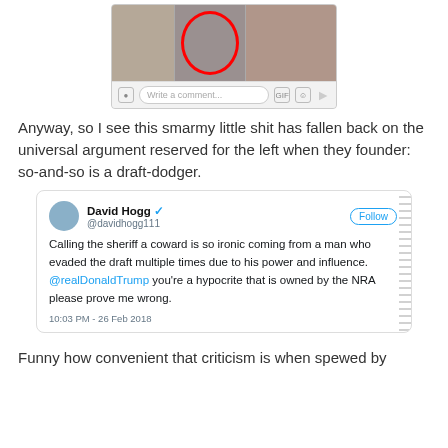[Figure (screenshot): Screenshot of a social media post showing three yearbook photos side by side; the center photo is circled in red. Below is a comment bar with 'Write a comment...' input.]
Anyway, so I see this smarmy little shit has fallen back on the universal argument reserved for the left when they founder: so-and-so is a draft-dodger.
[Figure (screenshot): Screenshot of a tweet by David Hogg (@davidhogg111): 'Calling the sheriff a coward is so ironic coming from a man who evaded the draft multiple times due to his power and influence. @realDonaldTrump you're a hypocrite that is owned by the NRA please prove me wrong.' Timestamped 10:03 PM - 26 Feb 2018.]
Funny how convenient that criticism is when spewed by